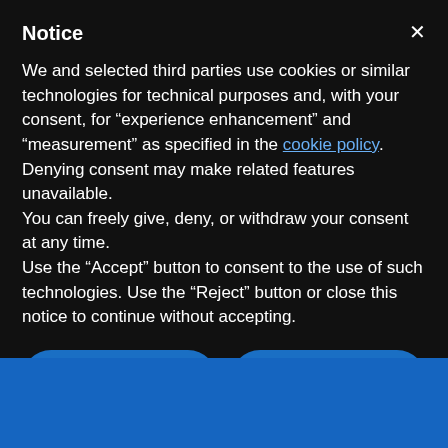Notice
We and selected third parties use cookies or similar technologies for technical purposes and, with your consent, for “experience enhancement” and “measurement” as specified in the cookie policy. Denying consent may make related features unavailable.
You can freely give, deny, or withdraw your consent at any time.
Use the “Accept” button to consent to the use of such technologies. Use the “Reject” button or close this notice to continue without accepting.
Reject
Accept
Learn more and customize